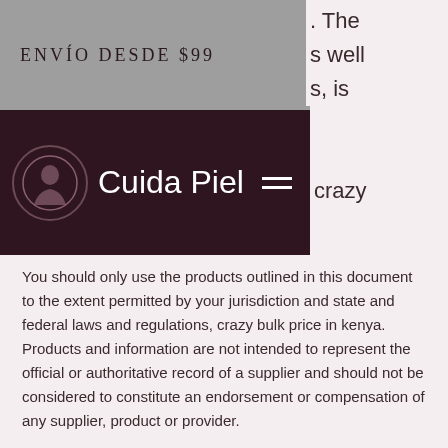Envío Desde $99
Cuida Piel
You should only use the products outlined in this document to the extent permitted by your jurisdiction and state and federal laws and regulations, crazy bulk price in kenya. Products and information are not intended to represent the official or authoritative record of a supplier and should not be considered to constitute an endorsement or compensation of any supplier, product or provider.
For more information visit our website at www, crazy bulk all products.sportlegend, crazy bulk all products.net, crazy bulk all products.